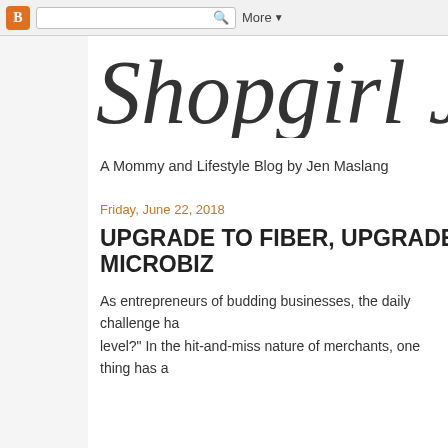Blogger | More ▼
Shopgirl J
A Mommy and Lifestyle Blog by Jen Maslang
Friday, June 22, 2018
UPGRADE TO FIBER, UPGRADE YOUR MICROBIZ
As entrepreneurs of budding businesses, the daily challenge ha... level?" In the hit-and-miss nature of merchants, one thing has a